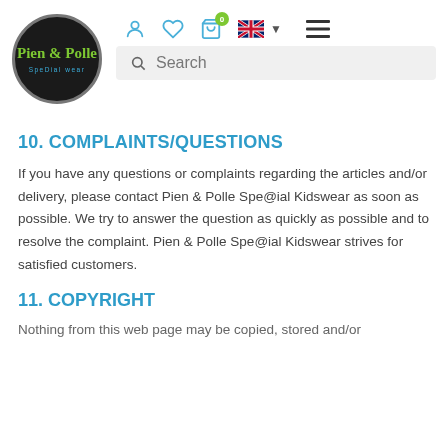[Figure (logo): Pien & Polle Spedial wear circular black logo with green and teal text]
[Figure (screenshot): Navigation bar with user, heart, bag (badge 0), UK flag, dropdown arrow, and hamburger menu icons, plus a search bar]
10. COMPLAINTS/QUESTIONS
If you have any questions or complaints regarding the articles and/or delivery, please contact Pien & Polle Spe@ial Kidswear as soon as possible. We try to answer the question as quickly as possible and to resolve the complaint. Pien & Polle Spe@ial Kidswear strives for satisfied customers.
11. COPYRIGHT
Nothing from this web page may be copied, stored and/or